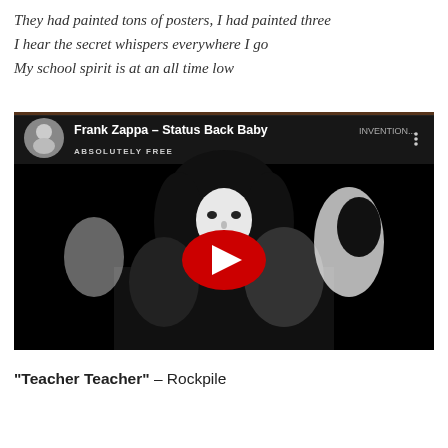They had painted tons of posters, I had painted three
I hear the secret whispers everywhere I go
My school spirit is at an all time low
[Figure (screenshot): YouTube video embed thumbnail showing Frank Zappa – Status Back Baby. Black and white album art with a figure's face and long dark hair, a red YouTube play button in the center. Top bar shows a circular avatar of a blonde person, the video title 'Frank Zappa – Status Back Baby', and three-dot menu. Text 'ABSOLUTELY FREE' visible on the thumbnail. Background is black.]
“Teacher Teacher” – Rockpile